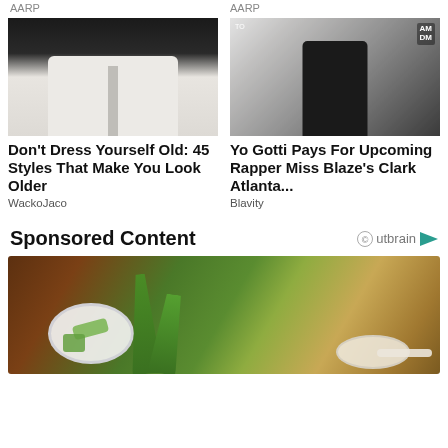AARP
AARP
[Figure (photo): Person wearing white pants, rear view]
[Figure (photo): Yo Gotti at AM to DM event, praying hands pose]
Don't Dress Yourself Old: 45 Styles That Make You Look Older
WackoJaco
Yo Gotti Pays For Upcoming Rapper Miss Blaze's Clark Atlanta...
Blavity
Sponsored Content
[Figure (photo): Aloe vera gel in glass bowl with aloe leaves and spoon on wooden surface]